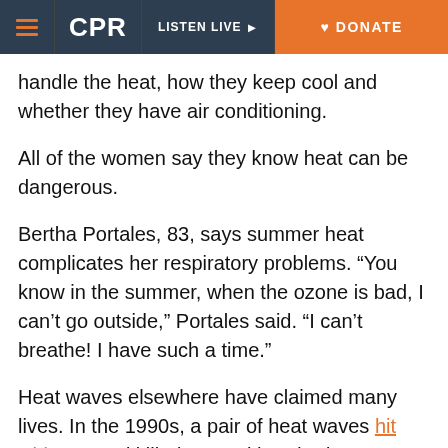CPR | LISTEN LIVE | DONATE
handle the heat, how they keep cool and whether they have air conditioning.
All of the women say they know heat can be dangerous.
Bertha Portales, 83, says summer heat complicates her respiratory problems. “You know in the summer, when the ozone is bad, I can’t go outside,” Portales said. “I can’t breathe! I have such a time.”
Heat waves elsewhere have claimed many lives. In the 1990s, a pair of heat waves hit Chicago and killed several hundred. Extreme heat in Europe in the summer of 2003 claimed tens of thousands of